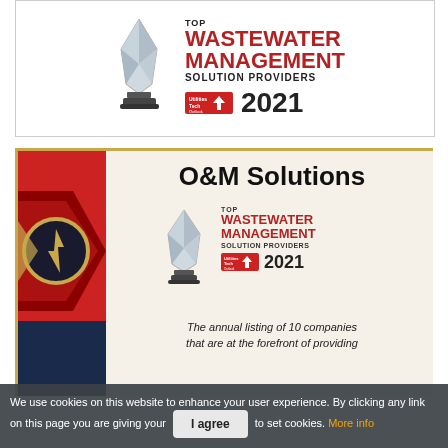[Figure (illustration): Top Wastewater Management Solution Providers 2021 award badge with crystal trophy and Utilities Tech Outlook logo]
[Figure (illustration): O&M Solutions promotional banner showing Top Wastewater Management Solution Providers 2021 listing with trophy, logo, and text 'The annual listing of 10 companies that are at the forefront of providing Wastewater Management solutions']
We use cookies on this website to enhance your user experience. By clicking any link on this page you are giving your consent to set cookies. More info